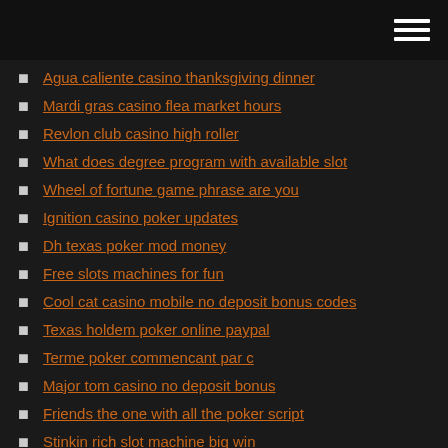Agua caliente casino thanksgiving dinner
Mardi gras casino flea market hours
Revlon club casino high roller
What does degree program with available slot
Wheel of fortune game phrase are you
Ignition casino poker updates
Dh texas poker mod money
Free slots machines for fun
Cool cat casino mobile no deposit bonus codes
Texas holdem poker online paypal
Terme poker commencant par c
Major tom casino no deposit bonus
Friends the one with all the poker script
Stinkin rich slot machine big win